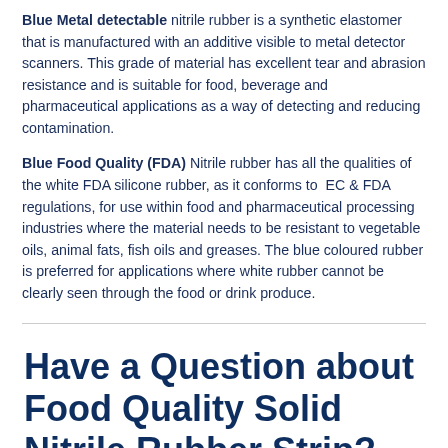Blue Metal detectable nitrile rubber is a synthetic elastomer that is manufactured with an additive visible to metal detector scanners. This grade of material has excellent tear and abrasion resistance and is suitable for food, beverage and pharmaceutical applications as a way of detecting and reducing contamination.
Blue Food Quality (FDA) Nitrile rubber has all the qualities of the white FDA silicone rubber, as it conforms to EC & FDA regulations, for use within food and pharmaceutical processing industries where the material needs to be resistant to vegetable oils, animal fats, fish oils and greases. The blue coloured rubber is preferred for applications where white rubber cannot be clearly seen through the food or drink produce.
Have a Question about Food Quality Solid Nitrile Rubber Strip?